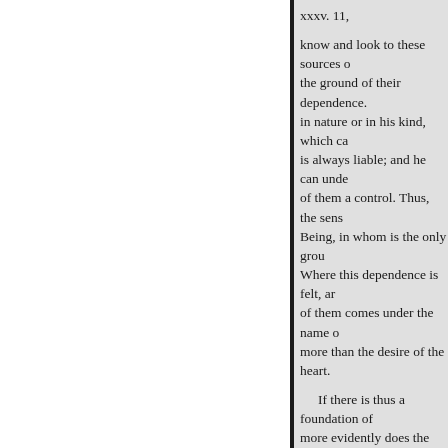xxxv. 11,
know and look to these sources o the ground of their dependence. in nature or in his kind, which ca is always liable; and he can unde of them a control. Thus, the sens Being, in whom is the only grou Where this dependence is felt, a of them comes under the name o more than the desire of the heart
If there is thus a foundation of more evidently does the same ap liable in life. For in these, of wha the mind in question. In sorrow a prayer has been found a source o other. In this very circumstance, various objects of nature, is raise And there is no difference in the one of them, there is no scope fo evidence of it, in every portion o